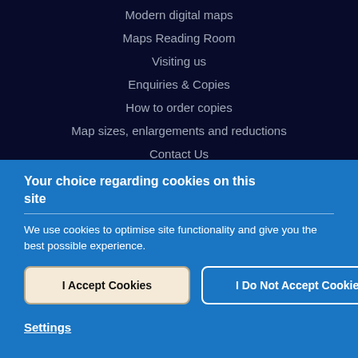Modern digital maps
Maps Reading Room
Visiting us
Enquiries & Copies
How to order copies
Map sizes, enlargements and reductions
Contact Us
Your choice regarding cookies on this site
We use cookies to optimise site functionality and give you the best possible experience.
I Accept Cookies
I Do Not Accept Cookies
Settings